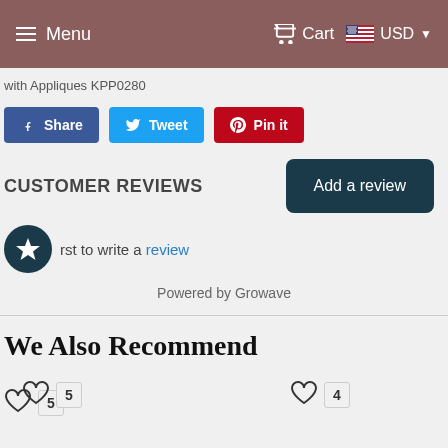Menu | Cart | USD
with Appliques KPP0280
Share  Tweet  Pin it
CUSTOMER REVIEWS
Add a review
rst to write a review
Powered by Growave
We Also Recommend
5  4